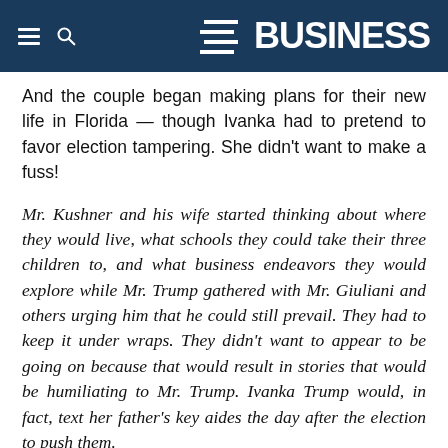BUSINESS
And the couple began making plans for their new life in Florida — though Ivanka had to pretend to favor election tampering. She didn't want to make a fuss!
Mr. Kushner and his wife started thinking about where they would live, what schools they could take their three children to, and what business endeavors they would explore while Mr. Trump gathered with Mr. Giuliani and others urging him that he could still prevail. They had to keep it under wraps. They didn't want to appear to be going on because that would result in stories that would be humiliating to Mr. Trump. Ivanka Trump would, in fact, text her father's key aides the day after the election to push them.
Also: Republican Senator Ted Cruz Had An Angry